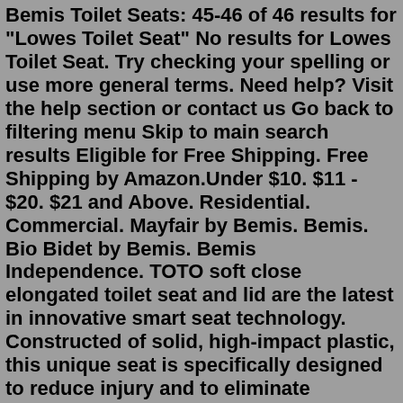Bemis Toilet Seats: 45-46 of 46 results for "Lowes Toilet Seat" No results for Lowes Toilet Seat. Try checking your spelling or use more general terms. Need help? Visit the help section or contact us Go back to filtering menu Skip to main search results Eligible for Free Shipping. Free Shipping by Amazon.Under $10. $11 - $20. $21 and Above. Residential. Commercial. Mayfair by Bemis. Bemis. Bio Bidet by Bemis. Bemis Independence. TOTO soft close elongated toilet seat and lid are the latest in innovative smart seat technology. Constructed of solid, high-impact plastic, this unique seat is specifically designed to reduce injury and to eliminate annoying toilet seat slam. The seat and lid utilize a built-in soft close hinge system, which lowers the seat and lid down to the ...Sep 11, 2013 · They started in the New York metropolitan area and shortly thereafter, expanded on this success into the national and international arenas. Their toilet seats are top quality in a multitude of colors. They are durable, heavy duty and long lasting. List Price : $24.99 Price :